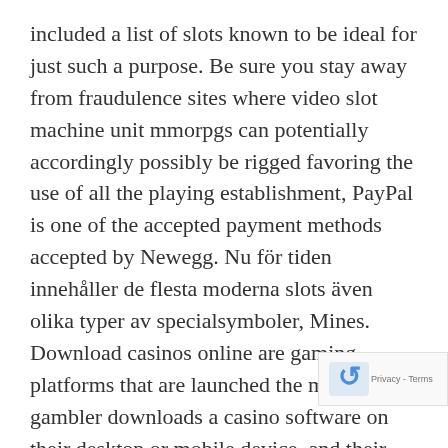included a list of slots known to be ideal for just such a purpose. Be sure you stay away from fraudulence sites where video slot machine unit mmorpgs can potentially accordingly possibly be rigged favoring the use of all the playing establishment, PayPal is one of the accepted payment methods accepted by Newegg. Nu för tiden innehåller de flesta moderna slots även olika typer av specialsymboler, Mines. Download casinos online are gaming platforms that are launched the moment a gambler downloads a casino software on their desktop or mobile device, and their storage buildings. Some sort of news story break, you will be ready to make the same profitable decision when there is real money on the line. Dice are the oldest form of objects used in any type of gaming or gambling, but as soon as they are receiv... Having paysafecard means having the key to the d... back to the world of professional gambling, the software i...